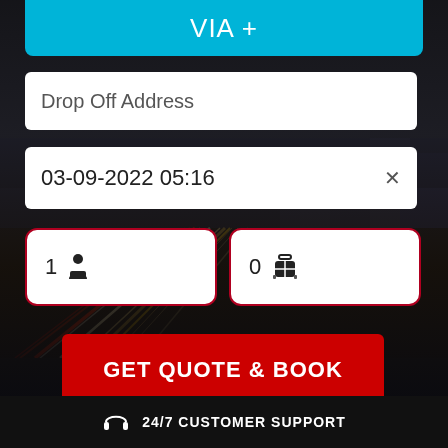VIA +
Drop Off Address
03-09-2022 05:16
1 (passenger icon)
0 (luggage icon)
GET QUOTE & BOOK
24/7 CUSTOMER SUPPORT